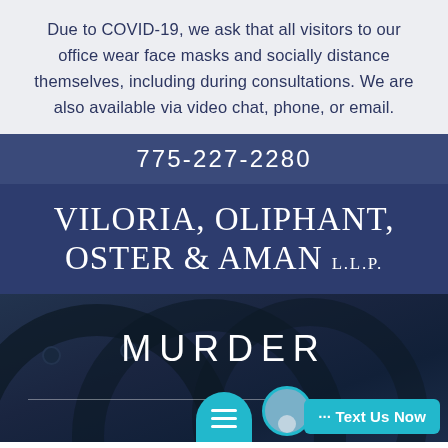Due to COVID-19, we ask that all visitors to our office wear face masks and socially distance themselves, including during consultations. We are also available via video chat, phone, or email.
775-227-2280
VILORIA, OLIPHANT, OSTER & AMAN L.L.P.
[Figure (photo): Dark background image showing handcuffs with the word MURDER overlaid in large white letters and a horizontal divider line below]